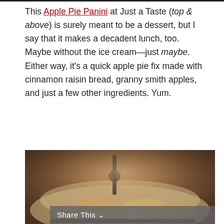This Apple Pie Panini at Just a Taste (top & above) is surely meant to be a dessert, but I say that it makes a decadent lunch, too. Maybe without the ice cream—just maybe. Either way, it's a quick apple pie fix made with cinnamon raisin bread, granny smith apples, and just a few other ingredients. Yum.
[Figure (photo): A close-up food photograph showing a panini sandwich with apple pie filling, with a dark utensil visible. The image has warm brown tones and a blurred, bokeh background.]